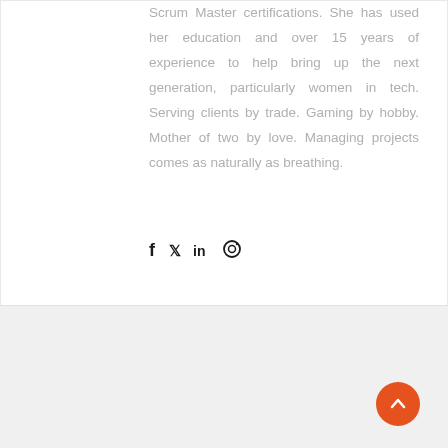Scrum Master certifications. She has used her education and over 15 years of experience to help bring up the next generation, particularly women in tech. Serving clients by trade. Gaming by hobby. Mother of two by love. Managing projects comes as naturally as breathing.
[Figure (other): Social media icons: Facebook (f), Twitter (bird), LinkedIn (in), Instagram (circle camera)]
Related Post